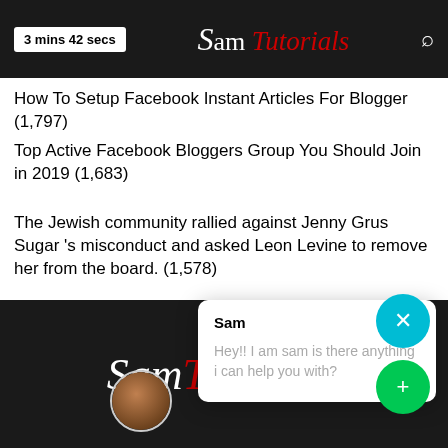3 mins 42 secs | Sam Tutorials
How To Setup Facebook Instant Articles For Blogger (1,797)
Top Active Facebook Bloggers Group You Should Join in 2019 (1,683)
The Jewish community rallied against Jenny Grus Sugar 's misconduct and asked Leon Levine to remove her from the board. (1,578)
Top 5 onli…
[Figure (screenshot): Chat popup widget with avatar. Sam says: Hey!! I am sam is there anything i can help you with?]
Sam Tutorials logo on dark background with chat FAB buttons